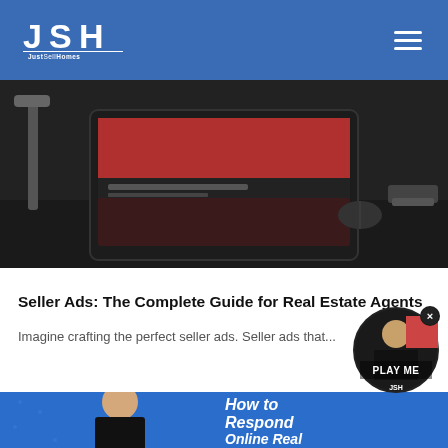[Figure (logo): JSH JustSellHomes logo on blue header bar with hamburger menu icon]
[Figure (photo): Desk setup with iMac monitor showing content, dark desk, lamp, accessories]
Seller Ads: The Complete Guide for Real Estate Agents
Imagine crafting the perfect seller ads. Seller ads that...
[Figure (photo): Blue card with man in black shirt and text 'How to Respond Online Real Estate...' with circular video play bubble overlay labeled PLAY ME]